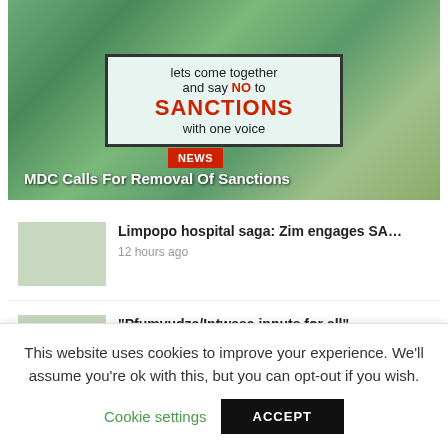[Figure (photo): Photo of a sign board reading 'lets come together and say NO to SANCTIONS with one voice' with trees and sky in background. A red NEWS badge and white title overlay at the bottom.]
MDC Calls For Removal Of Sanctions
Limpopo hospital saga: Zim engages SA...
12 hours ago
“Pfumvudza/Intwasa inputs for all”
12 hours ago
This website uses cookies to improve your experience. We’ll assume you’re ok with this, but you can opt-out if you wish.
Cookie settings
ACCEPT